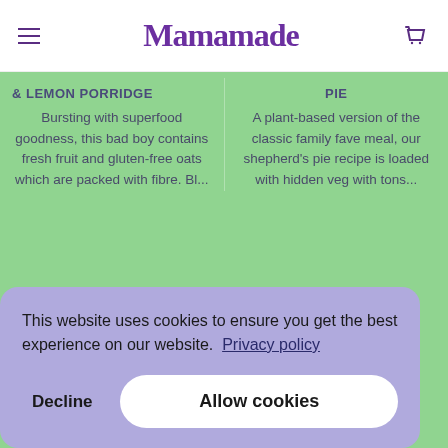Mamamade
& LEMON PORRIDGE
PIE
Bursting with superfood goodness, this bad boy contains fresh fruit and gluten-free oats which are packed with fibre. Bl...
A plant-based version of the classic family fave meal, our shepherd's pie recipe is loaded with hidden veg with tons...
Frequently
This website uses cookies to ensure you get the best experience on our website. Privacy policy
Decline
Allow cookies